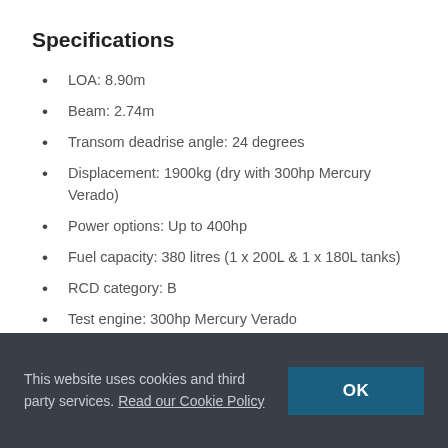Specifications
LOA: 8.90m
Beam: 2.74m
Transom deadrise angle: 24 degrees
Displacement: 1900kg (dry with 300hp Mercury Verado)
Power options: Up to 400hp
Fuel capacity: 380 litres (1 x 200L & 1 x 180L tanks)
RCD category: B
Test engine: 300hp Mercury Verado
Performance
47 knots – sea conditions moderate, wind F2 with 50% fuel
This website uses cookies and third party services. Read our Cookie Policy